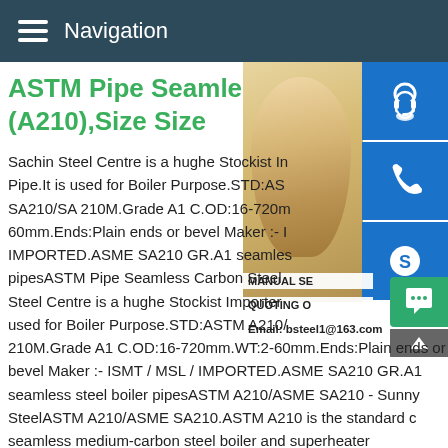Navigation
ASTM Pipe Seamless Carbon (A210),Size Size
[Figure (photo): Woman with headset customer service representative, partial view overlaid with contact icons (headset, phone, Skype), manual sensing and quoting overlay text, and email bsteel1@163.com]
Sachin Steel Centre is a hughe Stockist Importer & Pipe.It is used for Boiler Purpose.STD:ASTM A210/SA SA210/SA 210M.Grade A1 C.OD:16-720mm.WT:2-60mm.Ends:Plain ends or bevel Maker :- ISMT / MSL / IMPORTED.ASME SA210 GR.A1 seamless steel boiler pipesASTM Pipe Seamless Carbon Steel Boiler Steel Centre is a hughe Stockist Importer & used for Boiler Purpose.STD:ASTM A210/SA 210M.Grade A1 C.OD:16-720mm.WT:2-60mm.Ends:Plain ends or bevel Maker :- ISMT / MSL / IMPORTED.ASME SA210 GR.A1 seamless steel boiler pipesASTM A210/ASME SA210 - Sunny SteelASTM A210/ASME SA210.ASTM A210 is the standard co seamless medium-carbon steel boiler and superheater tubes.Seamless medium carbon steel pipe for boiler tube and